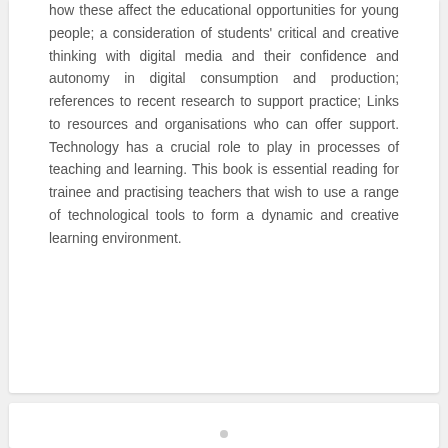how these affect the educational opportunities for young people; a consideration of students' critical and creative thinking with digital media and their confidence and autonomy in digital consumption and production; references to recent research to support practice; Links to resources and organisations who can offer support. Technology has a crucial role to play in processes of teaching and learning. This book is essential reading for trainee and practising teachers that wish to use a range of technological tools to form a dynamic and creative learning environment.